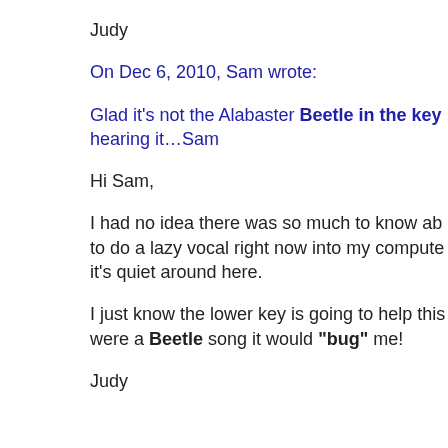Judy
On Dec 6, 2010, Sam wrote:
Glad it's not the Alabaster Beetle in the key hearing it…Sam
Hi Sam,
I had no idea there was so much to know about to do a lazy vocal right now into my computer it's quiet around here.
I just know the lower key is going to help this were a Beetle song it would "bug" me!
Judy